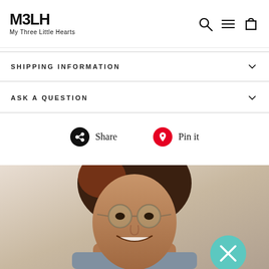M3LH My Three Little Hearts — navigation header with search, menu, and cart icons
SHIPPING INFORMATION
ASK A QUESTION
Share  Pin it
[Figure (photo): Smiling young woman with glasses and dark hair with reddish highlights, wearing a gray tank top, photographed in a soft light setting. A teal circular close button (×) overlays the lower right of the image.]